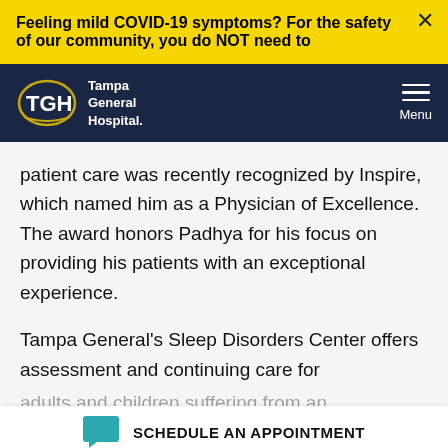Feeling mild COVID-19 symptoms? For the safety of our community, you do NOT need to
[Figure (logo): Tampa General Hospital logo with TGH oval and text, white on dark navy background, with hamburger menu icon labeled Menu]
patient care was recently recognized by Inspire, which named him as a Physician of Excellence. The award honors Padhya for his focus on providing his patients with an exceptional experience.
Tampa General’s Sleep Disorders Center offers assessment and continuing care for adults and children suffering from an assortment of sleeping disorders. It is the first
SCHEDULE AN APPOINTMENT